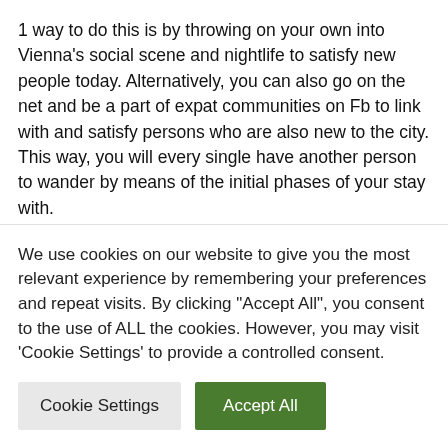1 way to do this is by throwing on your own into Vienna's social scene and nightlife to satisfy new people today. Alternatively, you can also go on the net and be a part of expat communities on Fb to link with and satisfy persons who are also new to the city. This way, you will every single have another person to wander by means of the initial phases of your stay with.
It's always fun to have mates you can watch a activity, have a drink, or even go browsing with. There is no telling – it's possible some of the 1st couple people today you make buddies with will stay in your everyday living for a
We use cookies on our website to give you the most relevant experience by remembering your preferences and repeat visits. By clicking "Accept All", you consent to the use of ALL the cookies. However, you may visit 'Cookie Settings' to provide a controlled consent.